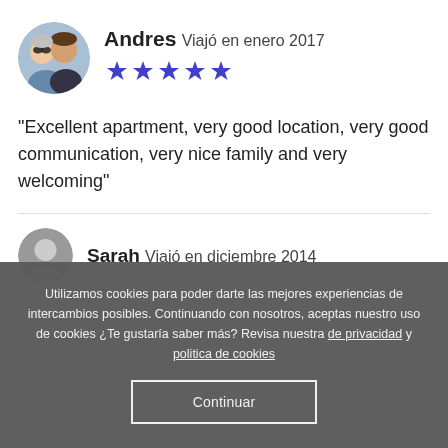[Figure (photo): Circular profile photo of two people (a couple), used as reviewer avatar for Andres]
Andres Viajó en enero 2017
[Figure (other): 5 blue stars rating]
“Excellent apartment, very good location, very good communication, very nice family and very welcoming”
[Figure (photo): Circular profile photo for reviewer Sarah]
Sarah Viajó en diciembre 2014
Utilizamos cookies para poder darte las mejores experiencias de intercambios posibles. Continuando con nosotros, aceptas nuestro uso de cookies ¿Te gustaría saber más? Revisa nuestra de privacidad y politica de cookies
Continuar